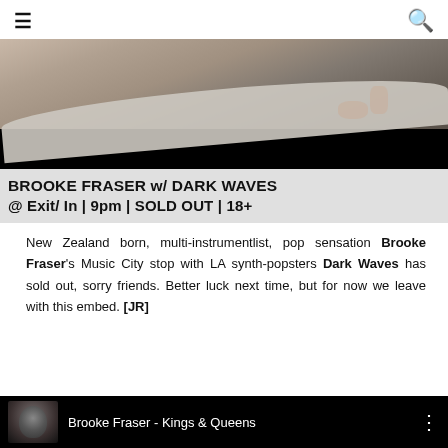☰ [menu icon] | [search icon]
[Figure (photo): Video screenshot showing a person on a surfboard at a beach, with a black letterbox bar at the bottom.]
BROOKE FRASER w/ DARK WAVES @ Exit/ In | 9pm | SOLD OUT | 18+
New Zealand born, multi-instrumentlist, pop sensation Brooke Fraser's Music City stop with LA synth-popsters Dark Waves has sold out, sorry friends. Better luck next time, but for now we leave with this embed. [JR]
[Figure (screenshot): YouTube embed thumbnail showing Brooke Fraser - Kings & Queens video with a face visible and three-dot menu icon.]